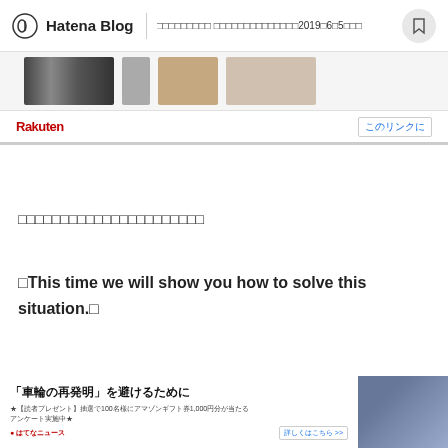Hatena Blog　□□□□□□□□□ □□□□□□□□□□□□□□2019□6□5□□□
[Figure (screenshot): Rakuten product images block showing book/product thumbnails]
Rakuten　このリンクに
□□□□□□□□□□□□□□□□□□□□□□
□This time we will show you how to solve this situation.□
[Figure (screenshot): Ad banner: 「車輪の再発明」を避けるために ★【読者プレゼント】抽選で100名様にアマゾンギフト券1,000円分が当たるアンケート実施中★ with photo of three people]